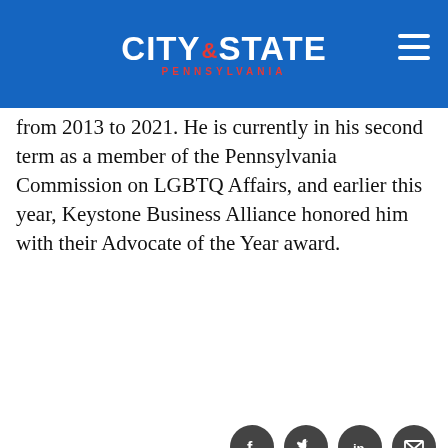CITY & STATE PENNSYLVANIA
from 2013 to 2021. He is currently in his second term as a member of the Pennsylvania Commission on LGBTQ Affairs, and earlier this year, Keystone Business Alliance honored him with their Advocate of the Year award.
[Figure (infographic): Social media share icons: Facebook, Twitter, LinkedIn, Email]
19. Anne Wakabayashi
Media Strategist, The Win Company
[Figure (photo): Photo of Anne Wakabayashi]